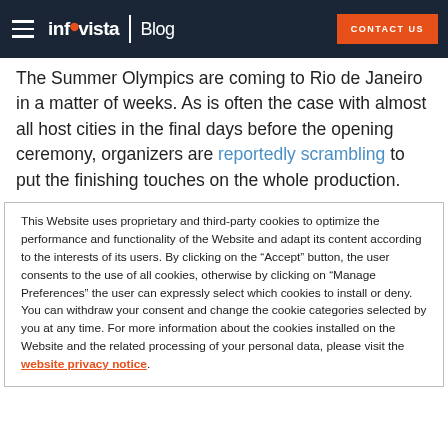infovista Blog | CONTACT US
The Summer Olympics are coming to Rio de Janeiro in a matter of weeks. As is often the case with almost all host cities in the final days before the opening ceremony, organizers are reportedly scrambling to put the finishing touches on the whole production.
This Website uses proprietary and third-party cookies to optimize the performance and functionality of the Website and adapt its content according to the interests of its users. By clicking on the “Accept” button, the user consents to the use of all cookies, otherwise by clicking on “Manage Preferences” the user can expressly select which cookies to install or deny. You can withdraw your consent and change the cookie categories selected by you at any time. For more information about the cookies installed on the Website and the related processing of your personal data, please visit the website privacy notice.